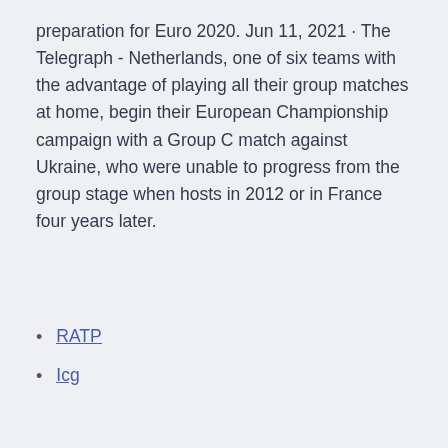preparation for Euro 2020. Jun 11, 2021 · The Telegraph - Netherlands, one of six teams with the advantage of playing all their group matches at home, begin their European Championship campaign with a Group C match against Ukraine, who were unable to progress from the group stage when hosts in 2012 or in France four years later.
RATP
Icg